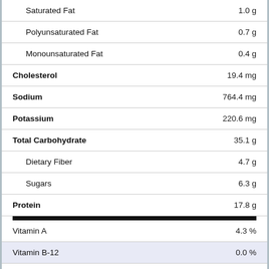| Nutrient | Amount |
| --- | --- |
| Saturated Fat | 1.0 g |
| Polyunsaturated Fat | 0.7 g |
| Monounsaturated Fat | 0.4 g |
| Cholesterol | 19.4 mg |
| Sodium | 764.4 mg |
| Potassium | 220.6 mg |
| Total Carbohydrate | 35.1 g |
| Dietary Fiber | 4.7 g |
| Sugars | 6.3 g |
| Protein | 17.8 g |
| Vitamin A | 4.3 % |
| Vitamin B-12 | 0.0 % |
| Vitamin B-6 | 0.0 % |
| Vitamin C | 10.5 % |
| Vitamin D | 3.1 |